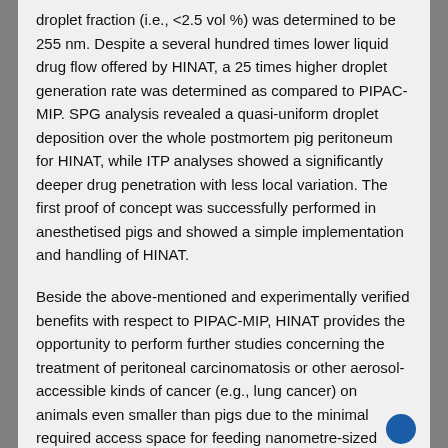droplet fraction (i.e., <2.5 vol %) was determined to be 255 nm. Despite a several hundred times lower liquid drug flow offered by HINAT, a 25 times higher droplet generation rate was determined as compared to PIPAC-MIP. SPG analysis revealed a quasi-uniform droplet deposition over the whole postmortem pig peritoneum for HINAT, while ITP analyses showed a significantly deeper drug penetration with less local variation. The first proof of concept was successfully performed in anesthetised pigs and showed a simple implementation and handling of HINAT.
Beside the above-mentioned and experimentally verified benefits with respect to PIPAC-MIP, HINAT provides the opportunity to perform further studies concerning the treatment of peritoneal carcinomatosis or other aerosol-accessible kinds of cancer (e.g., lung cancer) on animals even smaller than pigs due to the minimal required access space for feeding nanometre-sized aerosols into body cavities. Furthermore, the liquid atomisation unit of the HINAT approach was designed for multiple use with regard to economic aspects.